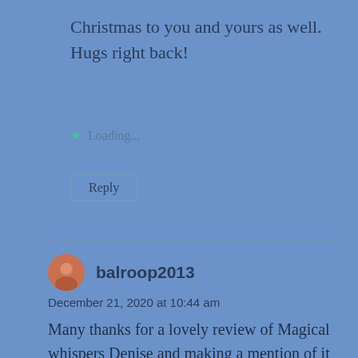Christmas to you and yours as well. Hugs right back!
Loading...
Reply
balroop2013
December 21, 2020 at 10:44 am
Many thanks for a lovely review of Magical whispers Denise and making a mention of it here, in the company of wonderful authors and their books.